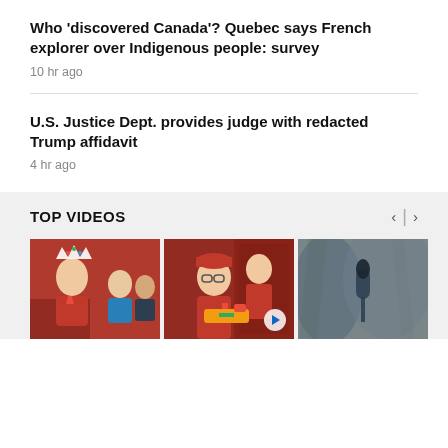Who 'discovered Canada'? Quebec says French explorer over Indigenous people: survey
10 hr ago
U.S. Justice Dept. provides judge with redacted Trump affidavit
4 hr ago
TOP VIDEOS
[Figure (photo): Video thumbnail 1: Man wearing paper crown in red shirt outdoors with people in background]
[Figure (photo): Video thumbnail 2: Man in red shirt and baseball cap holding toy water gun outdoors]
[Figure (photo): Video thumbnail 3: Partially visible dark/grey image, possibly a microphone or instrument]